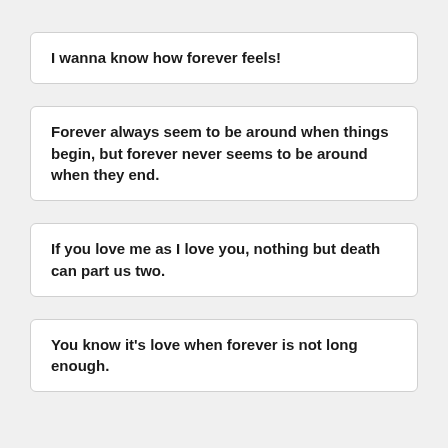I wanna know how forever feels!
Forever always seem to be around when things begin, but forever never seems to be around when they end.
If you love me as I love you, nothing but death can part us two.
You know it's love when forever is not long enough.